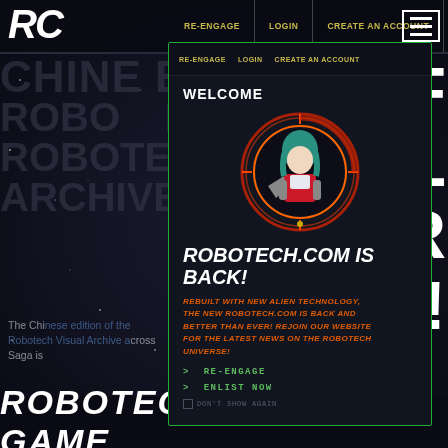RE-ENGAGE | LOGIN | CREATE AN ACCOUNT
[Figure (screenshot): Robotech.com website screenshot with a popup modal overlay. Background shows dark space theme with watermark text: CHINESE EDITION, ROBOTECH VISUAL, ARCHIVE ORDER. Right side shows large white text: OF, UAL, DER, OW!. A character modal popup is overlaid showing a welcome dialog with an anime character in a HUD circle, site announcement, and navigation links.]
WELCOME
ROBOTECH.COM IS BACK!
REBUILT WITH NEW ALIEN TECHNOLOGY, THE NEW ROBOTECH.COM IS BACK AND BETTER THAN EVER! REJOIN OUR WEBSITE FOR THE LATEST NEWS ON THE ROBOTECH UNIVERSE!
> RE-ENGAGE
> ENLIST NOW
DON'T SHOW AGAIN
The Chinese edition of the Robotech Visual Archive across Saga is
ROBOTECH COLECO GAME